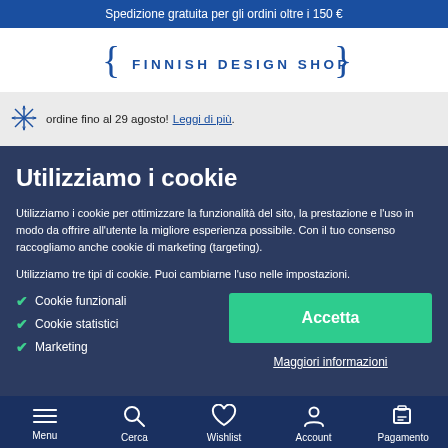Spedizione gratuita per gli ordini oltre i 150 €
[Figure (logo): Finnish Design Shop logo with decorative curly braces]
ordine fino al 29 agosto! Leggi di più.
Utilizziamo i cookie
Utilizziamo i cookie per ottimizzare la funzionalità del sito, la prestazione e l'uso in modo da offrire all'utente la migliore esperienza possibile. Con il tuo consenso raccogliamo anche cookie di marketing (targeting).
Utilizziamo tre tipi di cookie. Puoi cambiarne l'uso nelle impostazioni.
Cookie funzionali
Cookie statistici
Marketing
Accetta
Maggiori informazioni
Menu  Cerca  Wishlist  Account  Pagamento